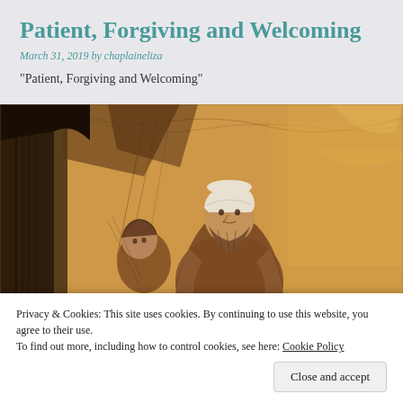Patient, Forgiving and Welcoming
March 31, 2019 by chaplaineliza
“Patient, Forgiving and Welcoming”
[Figure (illustration): A sepia-toned sketch illustration resembling a Rembrandt etching, showing an elderly bearded man wearing a turban/white cap seated at center, with another figure leaning nearby on the left. Dark hatching lines create shadows on the left with warm amber/brown washes throughout.]
Privacy & Cookies: This site uses cookies. By continuing to use this website, you agree to their use.
To find out more, including how to control cookies, see here: Cookie Policy
Close and accept